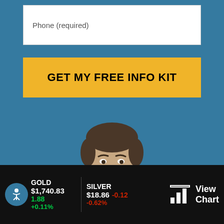Phone (required)
GET MY FREE INFO KIT
[Figure (photo): Headshot of a middle-aged man in a navy suit with white shirt, dark hair, against a blue background]
GOLD $1,740.83 1.88 +0.11%
SILVER $18.86 -0.12 -0.62%
View Chart